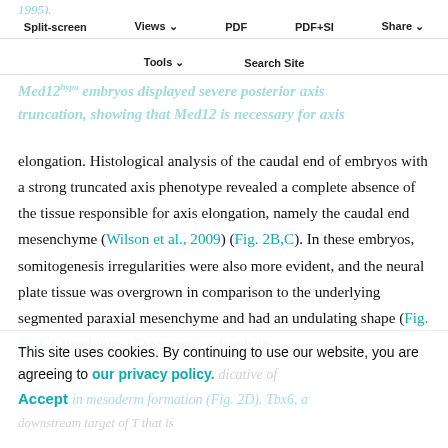Med12hypo embryos displayed severe posterior axis truncation, showing that Med12 is necessary for axis
Split-screen | Views | PDF | PDF+SI | Share | Tools | Search Site
elongation. Histological analysis of the caudal end of embryos with a strong truncated axis phenotype revealed a complete absence of the tissue responsible for axis elongation, namely the caudal end mesenchyme (Wilson et al., 2009) (Fig. 2B,C). In these embryos, somitogenesis irregularities were also more evident, and the neural plate tissue was overgrown in comparison to the underlying segmented paraxial mesenchyme and had an undulating shape (Fig. 2B,C). brachyury (T) expression levels in
This site uses cookies. By continuing to use our website, you are agreeing to our privacy policy. Accept